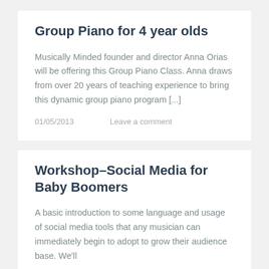Group Piano for 4 year olds
Musically Minded founder and director Anna Orias will be offering this Group Piano Class. Anna draws from over 20 years of teaching experience to bring this dynamic group piano program [...]
01/05/2013     Leave a comment
Workshop–Social Media for Baby Boomers
A basic introduction to some language and usage of social media tools that any musician can immediately begin to adopt to grow their audience base. We'll